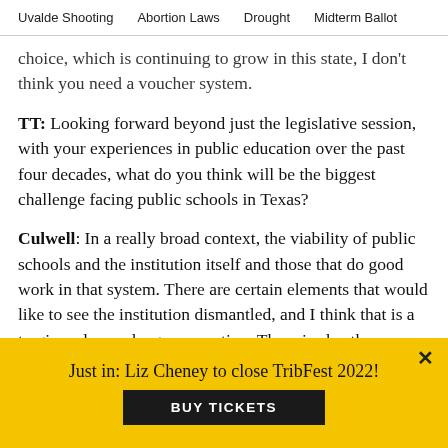Uvalde Shooting   Abortion Laws   Drought   Midterm Ballot
choice, which is continuing to grow in this state, I don't think you need a voucher system.
TT: Looking forward beyond just the legislative session, with your experiences in public education over the past four decades, what do you think will be the biggest challenge facing public schools in Texas?
Culwell: In a really broad context, the viability of public schools and the institution itself and those that do good work in that system. There are certain elements that would like to see the institution dismantled, and I think that is a tragic and very dangerous notion. There is also the continuing
Just in: Liz Cheney to close TribFest 2022!
BUY TICKETS